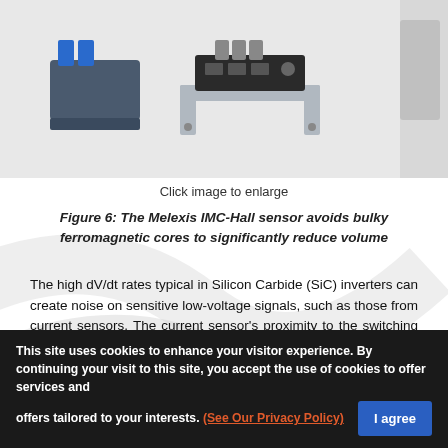[Figure (photo): Melexis IMC-Hall current sensor product photo showing compact sensor assembly with connector and mounting bracket]
Click image to enlarge
Figure 6: The Melexis IMC-Hall sensor avoids bulky ferromagnetic cores to significantly reduce volume
The high dV/dt rates typical in Silicon Carbide (SiC) inverters can create noise on sensitive low-voltage signals, such as those from current sensors. The current sensor's proximity to the switching nodes makes them even more susceptible. This is true as well for the cabling between the sensor and the controller, which can pick up the noise as it is routed around the system.
This site uses cookies to enhance your visitor experience. By continuing your visit to this site, you accept the use of cookies to offer services and offers tailored to your interests. (See Our Privacy Policy)